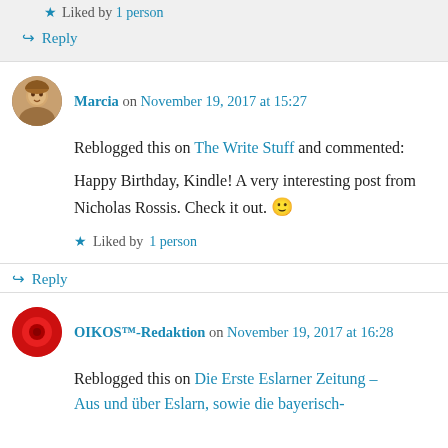★ Liked by 1 person
↳ Reply
Marcia on November 19, 2017 at 15:27
Reblogged this on The Write Stuff and commented:
Happy Birthday, Kindle! A very interesting post from Nicholas Rossis. Check it out. 🙂
★ Liked by 1 person
↳ Reply
OIKOS™-Redaktion on November 19, 2017 at 16:28
Reblogged this on Die Erste Eslarner Zeitung – Aus und über Eslarn, sowie die bayerisch-